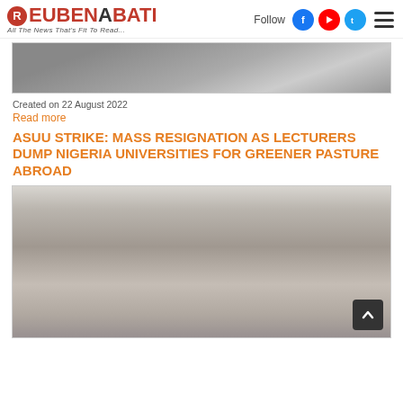ReubenAbati — All The News That's Fit To Read...
[Figure (photo): Top cropped photo, grayscale/muted, showing fabric or clothing texture]
Created on 22 August 2022
Read more
ASUU STRIKE: MASS RESIGNATION AS LECTURERS DUMP NIGERIA UNIVERSITIES FOR GREENER PASTURE ABROAD
[Figure (photo): Photo of people seated, man in foreground wearing a blue face mask, others visible in background]